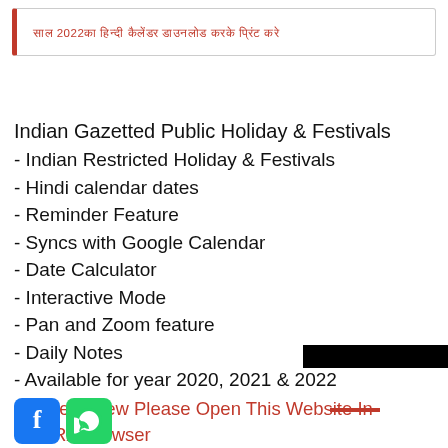साल 2022का हिन्दी कैलेंडर डाउनलोड करके प्रिंट करे
Indian Gazetted Public Holiday & Festivals
- Indian Restricted Holiday & Festivals
- Hindi calendar dates
- Reminder Feature
- Syncs with Google Calendar
- Date Calculator
- Interactive Mode
- Pan and Zoom feature
- Daily Notes
- Available for year 2020, 2021 & 2022
For Best View Please Open This Website In OPERA Browser